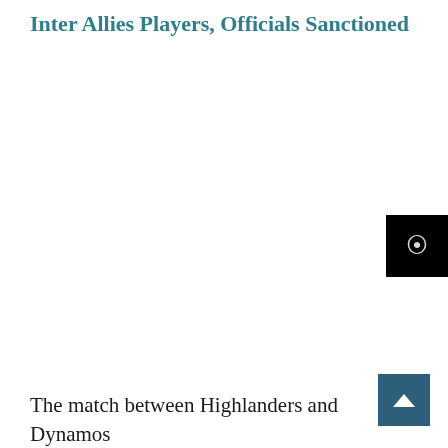Inter Allies Players, Officials Sanctioned
[Figure (other): Dark button with spiral/loading icon, partially visible at right edge]
[Figure (other): Blue square button with upward chevron arrow (scroll-to-top button)]
The match between Highlanders and Dynamos